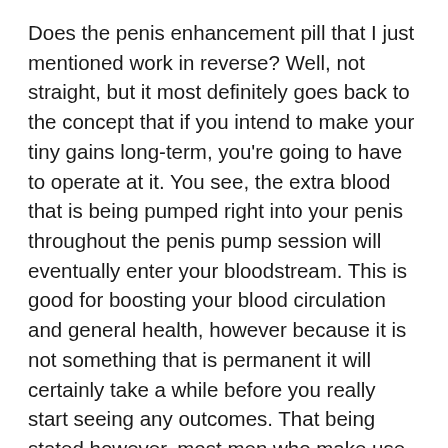Does the penis enhancement pill that I just mentioned work in reverse? Well, not straight, but it most definitely goes back to the concept that if you intend to make your tiny gains long-term, you're going to have to operate at it. You see, the extra blood that is being pumped right into your penis throughout the penis pump session will eventually enter your bloodstream. This is good for boosting your blood circulation and general health, however because it is not something that is permanent it will certainly take a while before you really start seeing any outcomes. That being stated however, most men who make use of penis pumps are extremely pleased with the results they attain.